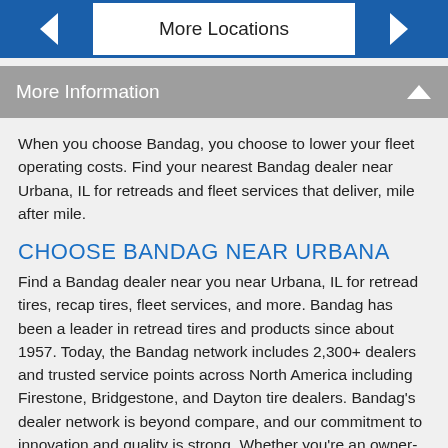More Locations
More Information
When you choose Bandag, you choose to lower your fleet operating costs. Find your nearest Bandag dealer near Urbana, IL for retreads and fleet services that deliver, mile after mile.
CHOOSE BANDAG NEAR URBANA
Find a Bandag dealer near you near Urbana, IL for retread tires, recap tires, fleet services, and more. Bandag has been a leader in retread tires and products since about 1957. Today, the Bandag network includes 2,300+ dealers and trusted service points across North America including Firestone, Bridgestone, and Dayton tire dealers. Bandag's dealer network is beyond compare, and our commitment to innovation and quality is strong. Whether you're an owner-operator or manage a fleet of local school buses, your nearest Bandag location near Urbana can help make sure your drivers and their trucks feel confident when